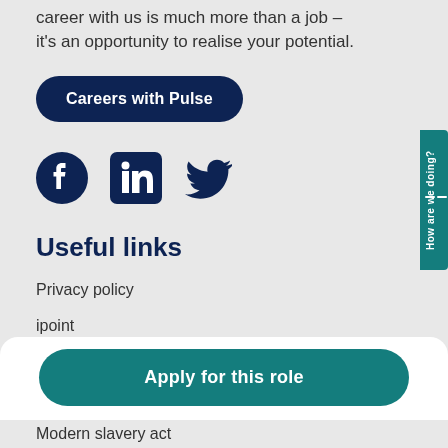career with us is much more than a job – it's an opportunity to realise your potential.
[Figure (other): Dark navy rounded button labeled 'Careers with Pulse']
[Figure (other): Social media icons: Facebook, LinkedIn, Twitter in dark navy]
Useful links
Privacy policy
ipoint
Get in touch
[Figure (other): Teal rounded button labeled 'Apply for this role']
Modern slavery act
[Figure (other): Teal side tab with text 'How are we doing?' and menu icon]